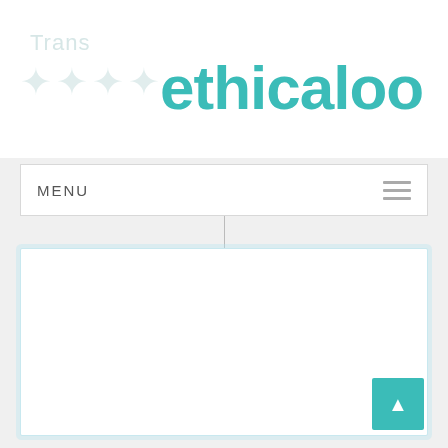ethicaloo
MENU
Dash
[Figure (photo): Exterior photo of the DASH store front, showing large blue-grey 'DASH' letters on a white building facade with glass entrance doors and the number 9420 visible on the glass.]